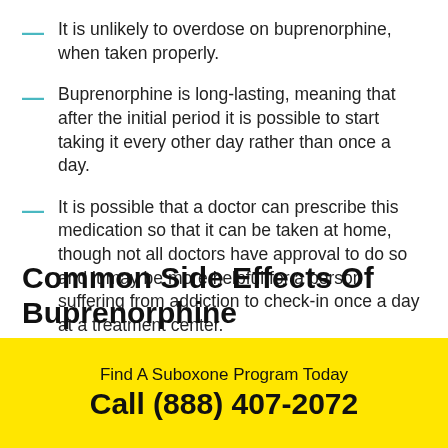It is unlikely to overdose on buprenorphine, when taken properly.
Buprenorphine is long-lasting, meaning that after the initial period it is possible to start taking it every other day rather than once a day.
It is possible that a doctor can prescribe this medication so that it can be taken at home, though not all doctors have approval to do so and it may be more helpful for a person suffering from addiction to check-in once a day at a treatment center.
Common Side Effects Of Buprenorphine
Find A Suboxone Program Today
Call (888) 407-2072